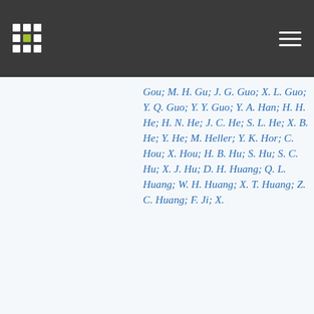Gou; M. H. Gu; J. G. Guo; X. L. Guo; Y. Q. Guo; Y. Y. Guo; Y. A. Han; H. H. He; H. N. He; J. C. He; S. L. He; X. B. He; Y. He; M. Heller; Y. K. Hor; C. Hou; X. Hou; H. B. Hu; S. Hu; S. C. Hu; X. J. Hu; D. H. Huang; Q. L. Huang; W. H. Huang; X. T. Huang; Z. C. Huang; F. Ji; X.